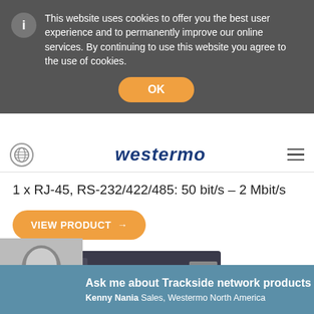This website uses cookies to offer you the best user experience and to permanently improve our online services. By continuing to use this website you agree to the use of cookies.
OK
[Figure (logo): Westermo logo in dark blue italic text]
1 x RJ-45, RS-232/422/485: 50 bit/s – 2 Mbit/s
VIEW PRODUCT →
[Figure (photo): Westermo trackside network hardware device, dark colored box with ports and indicators]
[Figure (photo): Bald man in grayscale, sales representative Kenny Nania]
Ask me about Trackside network products
Kenny Nania Sales, Westermo North America